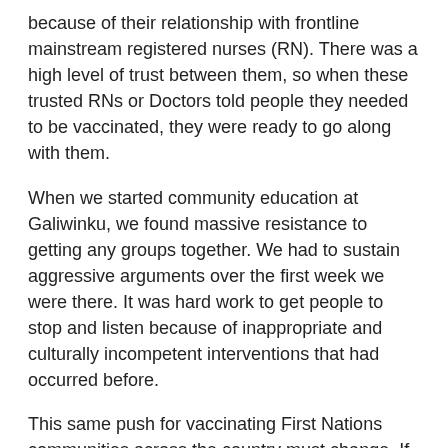because of their relationship with frontline mainstream registered nurses (RN). There was a high level of trust between them, so when these trusted RNs or Doctors told people they needed to be vaccinated, they were ready to go along with them.
When we started community education at Galiwinku, we found massive resistance to getting any groups together. We had to sustain aggressive arguments over the first week we were there. It was hard work to get people to stop and listen because of inappropriate and culturally incompetent interventions that had occurred before.
This same push for vaccinating First Nations communities across the country must change. If the relationships are not there, people need access to good culturally competent information so they can make informed choices of their own accord.
This pandemic could be ongoing for a long time. We need